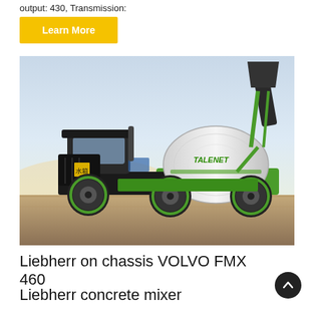output: 430, Transmission:
Learn More
[Figure (photo): A green self-loading concrete mixer truck branded TALENET, with a large white drum and a loading bucket raised above the cab, parked on a concrete surface with a city skyline in the background.]
Liebherr on chassis VOLVO FMX 460
Liebherr concrete mixer